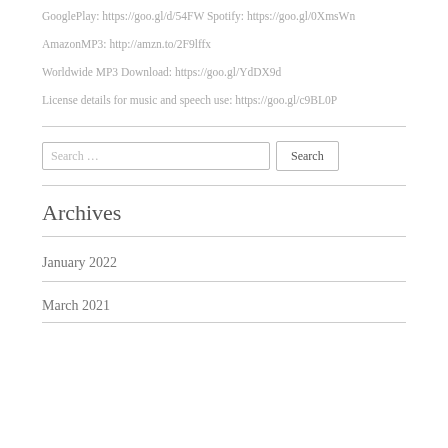GooglePlay: https://goo.gl/d/54FW Spotify: https://goo.gl/0XmsWn
AmazonMP3: http://amzn.to/2F9lffx
Worldwide MP3 Download: https://goo.gl/YdDX9d
License details for music and speech use: https://goo.gl/c9BL0P
Search …
Archives
January 2022
March 2021